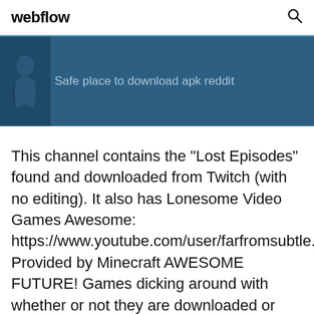webflow
[Figure (screenshot): Dark blue banner with a stylized avatar icon on the left and text 'Safe place to download apk reddit' in blue-gray color]
This channel contains the "Lost Episodes" found and downloaded from Twitch (with no editing). It also has Lonesome Video Games Awesome: https://www.youtube.com/user/farfromsubtle. Provided by Minecraft AWESOME FUTURE! Games dicking around with whether or not they are downloaded or installed As part of the Minecraft